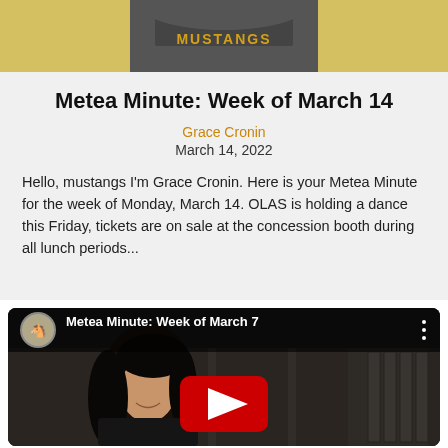[Figure (photo): Top portion of a person wearing a Metea Mustangs hoodie, cropped to show torso and partial face, school hallway background]
Metea Minute: Week of March 14
Grace Cronin
March 14, 2022
Hello, mustangs I'm Grace Cronin. Here is your Metea Minute for the week of Monday, March 14. OLAS is holding a dance this Friday, tickets are on sale at the concession booth during all lunch periods...
[Figure (screenshot): YouTube video thumbnail for 'Metea Minute: Week of March 7' showing a young woman with dark curly hair in a school hallway, with YouTube play button overlay and channel icon in top bar]